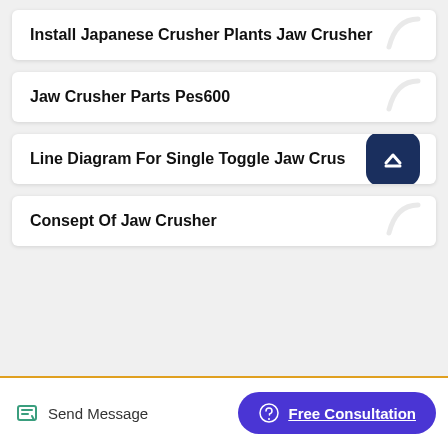Install Japanese Crusher Plants Jaw Crusher
Jaw Crusher Parts Pes600
Line Diagram For Single Toggle Jaw Crusher
Consept Of Jaw Crusher
Send Message | Free Consultation